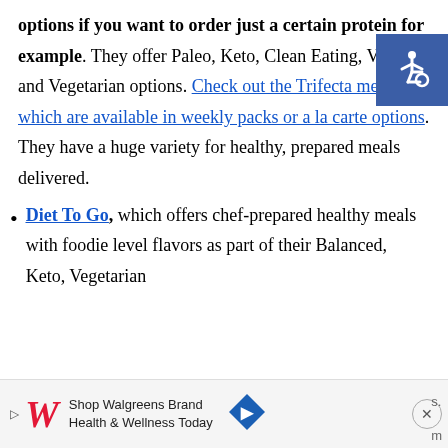options if you want to order just a certain protein for example. They offer Paleo, Keto, Clean Eating, Vegan and Vegetarian options. Check out the Trifecta meals which are available in weekly packs or a la carte options. They have a huge variety for healthy, prepared meals delivered.
Diet To Go, which offers chef-prepared healthy meals with foodie level flavors as part of their Balanced, Keto, Vegetarian
[Figure (other): Accessibility icon — white wheelchair symbol on blue square background, top-right corner]
[Figure (other): Advertisement banner: Shop Walgreens Brand Health & Wellness Today, with Walgreens logo and blue arrow sign]